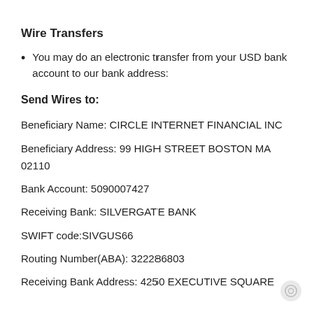Wire Transfers
You may do an electronic transfer from your USD bank account to our bank address:
Send Wires to:
Beneficiary Name: CIRCLE INTERNET FINANCIAL INC
Beneficiary Address: 99 HIGH STREET BOSTON MA 02110
Bank Account: 5090007427
Receiving Bank: SILVERGATE BANK
SWIFT code:SIVGUS66
Routing Number(ABA): 322286803
Receiving Bank Address: 4250 EXECUTIVE SQUARE